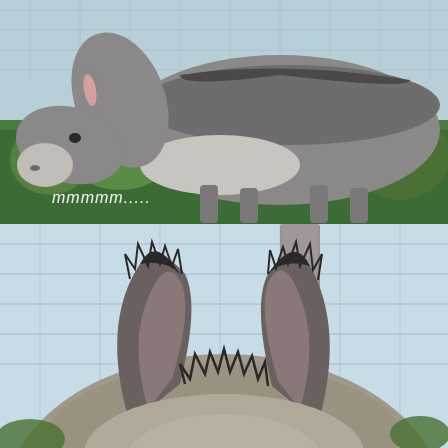[Figure (photo): A grey donkey grazing on yellow wildflowers and green grass, photographed from the side against a wire fence background. Text overlay reads 'mmmmm.....' in white italic font in the lower left corner.]
[Figure (photo): Close-up view of a donkey's ears from behind/above, showing dark brown and grey fur with spiky hair between the ears. A wire fence and wooden post are visible in the blurred background.]